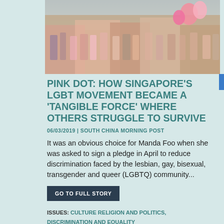[Figure (photo): Crowd of people at Pink Dot event, many wearing pink clothing, with pink balloons visible]
PINK DOT: HOW SINGAPORE'S LGBT MOVEMENT BECAME A 'TANGIBLE FORCE' WHERE OTHERS STRUGGLE TO SURVIVE
06/03/2019 | SOUTH CHINA MORNING POST
It was an obvious choice for Manda Foo when she was asked to sign a pledge in April to reduce discrimination faced by the lesbian, gay, bisexual, transgender and queer (LGBTQ) community...
GO TO FULL STORY
ISSUES: CULTURE RELIGION AND POLITICS, DISCRIMINATION AND EQUALITY
COUNTRIES: SINGAPORE
REGIONS: ASIA